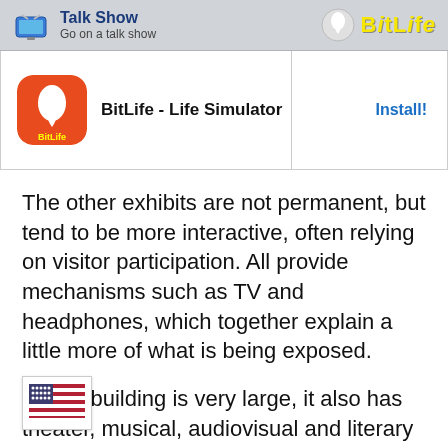Talk Show — Go on a talk show | BitLife
[Figure (screenshot): BitLife app advertisement banner with app icon and Install button]
The other exhibits are not permanent, but tend to be more interactive, often relying on visitor participation. All provide mechanisms such as TV and headphones, which together explain a little more of what is being exposed.
As the building is very large, it also has theater, musical, audiovisual and literary performances. Ho... for those who want to explore these ...